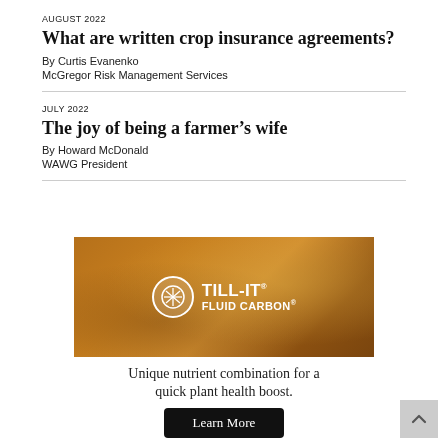AUGUST 2022
What are written crop insurance agreements?
By Curtis Evanenko
McGregor Risk Management Services
JULY 2022
The joy of being a farmer’s wife
By Howard McDonald
WAWG President
[Figure (other): Advertisement for TILL-IT FLUID CARBON product. Shows wheat field background with brand logo and tagline: Unique nutrient combination for a quick plant health boost. Learn More button.]